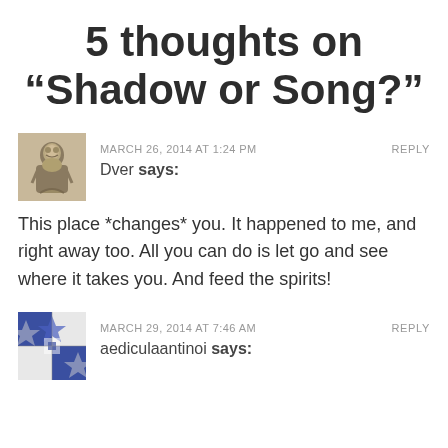5 thoughts on “Shadow or Song?”
MARCH 26, 2014 AT 1:24 PM
REPLY
Dver says:
This place *changes* you. It happened to me, and right away too. All you can do is let go and see where it takes you. And feed the spirits!
MARCH 29, 2014 AT 7:46 AM
REPLY
aediculaantinoi says: